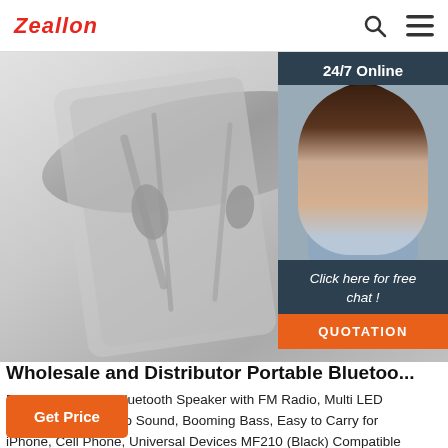Zeallon
[Figure (photo): Product photo showing Bluetooth earphones/headsets with cables on a light grey background]
[Figure (photo): 24/7 Online support panel with a customer service agent wearing a headset, 'Click here for free chat!' text, and orange QUOTATION button]
Wholesale and Distributor Portable Bluetoo...
Portable Wireless Bluetooth Speaker with FM Radio, Multi LED Colors Lights, Stereo Sound, Booming Bass, Easy to Carry for iPhone, Cell Phone, Universal Devices MF210 (Black) Compatible with iPhone, Cell Phone, Universale Devices MF210NEW UPGRADED SPEAKER & POWERFUL SOUND: M..
Get Price